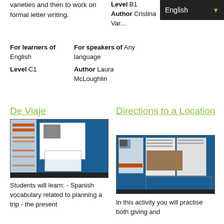varieties and then to work on formal letter writing.
Level B1   Author Cristina Var...
English (dropdown)
| For learners of | For speakers of |
| --- | --- |
| English | Any language |
| Level C1 | Author Laura McLoughlin |
De Viaje
[Figure (screenshot): Screenshot of De Viaje lesson interface with blue background and document panels]
Students will learn: - Spanish vocabulary related to planning a trip - the present
Directions to a Location
[Figure (screenshot): Screenshot of Directions to a Location lesson with blue background and multiple document panels with photos]
In this activity you will practise both giving and